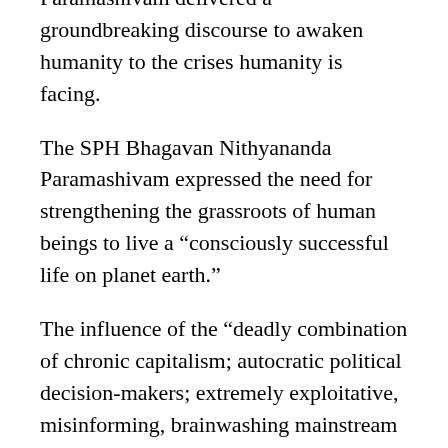Paramashivam delivered a groundbreaking discourse to awaken humanity to the crises humanity is facing.
The SPH Bhagavan Nithyananda Paramashivam expressed the need for strengthening the grassroots of human beings to live a “consciously successful life on planet earth.”
The influence of the “deadly combination of chronic capitalism; autocratic political decision-makers; extremely exploitative, misinforming, brainwashing mainstream media; militant missionaries and missionary militants; and religious political ideologies have made more than 70% of human beings feel consciously uprooted.
The SPH calls it a “conscious pandemic” which is a more serious problem than global warming or the global pandemic we are going through. This “conscious pandemic” is imploding human beings